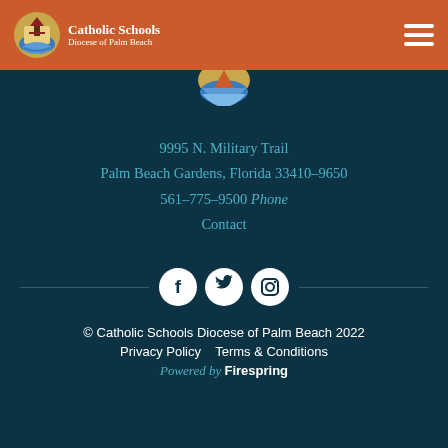Catholic Schools Diocese of Palm Beach
[Figure (logo): Catholic Schools Diocese of Palm Beach shield logo (partial, bottom portion visible below header)]
9995 N. Military Trail
Palm Beach Gardens, Florida 33410-9650
561-775-9500 Phone
Contact
[Figure (infographic): Social media icons: Facebook, Twitter, Instagram in white circles on dark teal background, with horizontal divider lines on each side]
© Catholic Schools Diocese of Palm Beach 2022
Privacy Policy    Terms & Conditions
Powered by Firespring